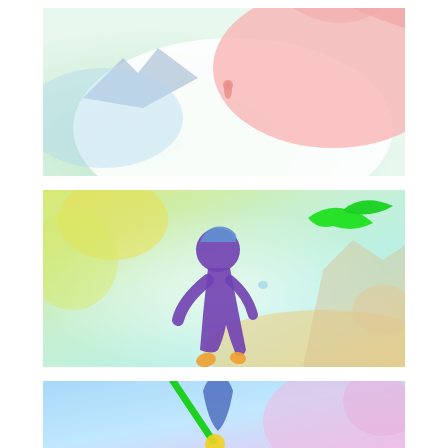[Figure (illustration): Top panel: a colorful pastel illustration with blue-green gradient background on the left transitioning to white center and pink upper right. A dark mountain silhouette on the upper left. A small running figure silhouette in pink/salmon near the center. A large pink-peach blob shape on the upper right.]
[Figure (illustration): Middle panel: a pastel yellow-green-blue gradient scene with a purple child figure running in the center, a bright green bird/seagull flying upper right, yellow blob shapes upper left, and muted beige mountain shapes on the right side.]
[Figure (illustration): Bottom panel (partially visible): a light blue gradient background with a blue person silhouette holding a green stick/tool with a yellow ball at the base, pink-purple blob on the right. Only top portion visible.]